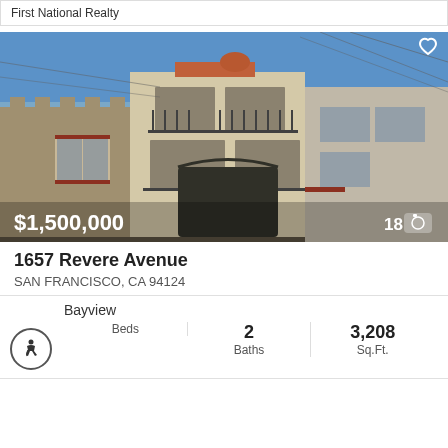First National Realty
[Figure (photo): Exterior photo of a multi-story residential building at 1657 Revere Avenue, San Francisco. Spanish-style architecture with balconies, iron railings, beige/tan stucco facade. Price $1,500,000 overlaid on lower left. Photo count '18' with camera icon on lower right. Heart/favorite icon top right.]
1657 Revere Avenue
SAN FRANCISCO, CA 94124
Bayview
Beds
2 Baths
3,208 Sq.Ft.